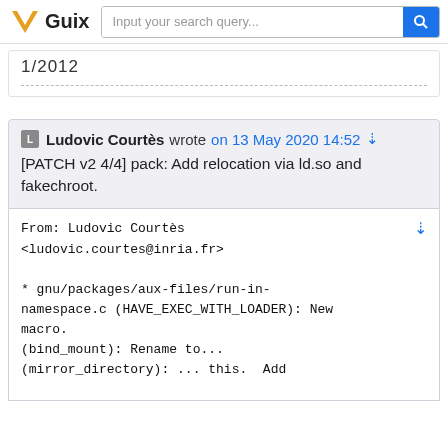VGuix   Input your search query...
1/2012
Ludovic Courtès wrote on 13 May 2020 14:52 [PATCH v2 4/4] pack: Add relocation via ld.so and fakechroot.
From: Ludovic Courtès <ludovic.courtes@inria.fr>

* gnu/packages/aux-files/run-in-namespace.c (HAVE_EXEC_WITH_LOADER): New macro.
(bind_mount): Rename to...
(mirror_directory): ... this.  Add